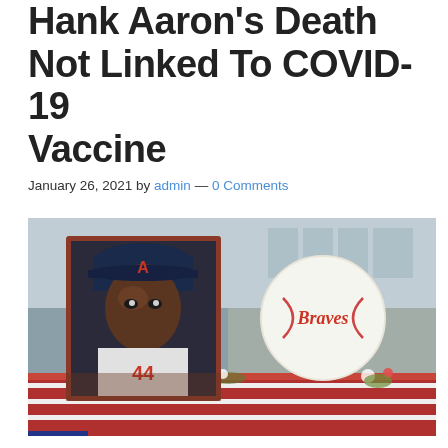Hank Aaron's Death Not Linked To COVID-19 Vaccine
January 26, 2021 by admin — 0 Comments
[Figure (photo): Memorial photo of Hank Aaron in an Atlanta Braves uniform displayed in a framed portrait, with a large decorative baseball with 'Braves' script in the background, flowers and an American flag draped in the foreground.]